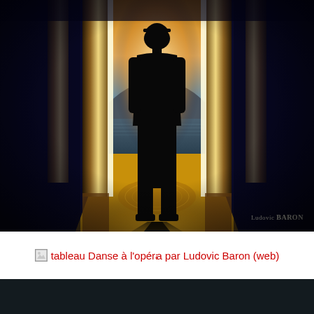[Figure (photo): A dramatic artistic photo showing a man in a suit and bowler hat, seen from behind, standing in a grand doorway/entrance with tall decorative columns. He faces a luminous opening with warm golden light, beyond which a scenic landscape with water and mountains is visible at sunset. The man casts a long shadow on the ornate golden floor with decorative carpet. The sides of the image are deep dark blue/navy. Watermark reads 'Ludovic BARON' in bottom right corner.]
tableau Danse à l'opéra par Ludovic Baron (web)
[Figure (photo): Partial bottom strip showing beginning of another dark image.]